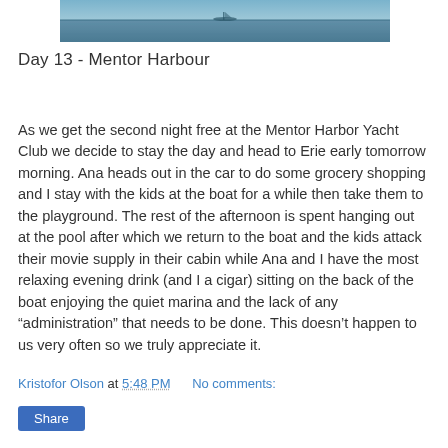[Figure (photo): Partial view of water/ocean scene, cropped strip at top of page]
Day 13 - Mentor Harbour
As we get the second night free at the Mentor Harbor Yacht Club we decide to stay the day and head to Erie early tomorrow morning. Ana heads out in the car to do some grocery shopping and I stay with the kids at the boat for a while then take them to the playground. The rest of the afternoon is spent hanging out at the pool after which we return to the boat and the kids attack their movie supply in their cabin while Ana and I have the most relaxing evening drink (and I a cigar) sitting on the back of the boat enjoying the quiet marina and the lack of any “administration” that needs to be done. This doesn’t happen to us very often so we truly appreciate it.
Kristofor Olson at 5:48 PM   No comments:
Share